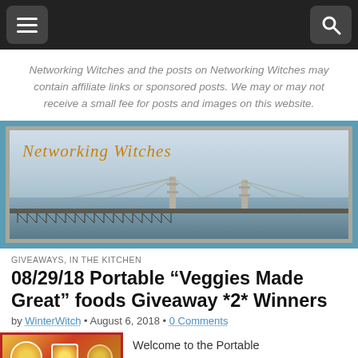[Navigation bar with hamburger menu and search icon]
Networking Witches and the posts on Networking Witches may contain affiliate links or sponsored posts. We may or may not receive a small fee for posts and images on this website.
[Figure (photo): Networking Witches website banner showing a large suspension bridge (Mackinac Bridge) over water with light blue sky, with cursive orange text 'Networking Witches' in upper left]
GIVEAWAYS, IN THE KITCHEN
08/29/18 Portable “Veggies Made Great” foods Giveaway *2* Winners
by WinterWitch • August 6, 2018 • 0 Comments
[Figure (photo): Thumbnail image showing colorful food product packages]
Welcome to the Portable